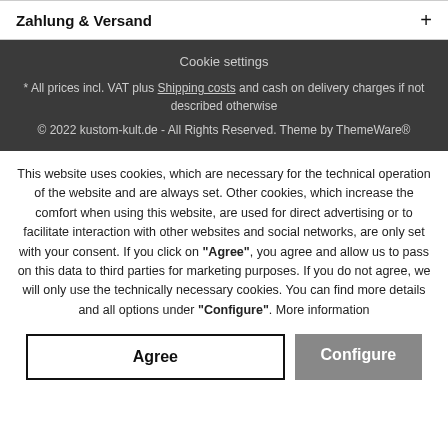Zahlung & Versand +
Cookie settings
* All prices incl. VAT plus Shipping costs and cash on delivery charges if not described otherwise
© 2022 kustom-kult.de - All Rights Reserved. Theme by ThemeWare®
This website uses cookies, which are necessary for the technical operation of the website and are always set. Other cookies, which increase the comfort when using this website, are used for direct advertising or to facilitate interaction with other websites and social networks, are only set with your consent. If you click on "Agree", you agree and allow us to pass on this data to third parties for marketing purposes. If you do not agree, we will only use the technically necessary cookies. You can find more details and all options under "Configure". More information
Agree
Configure